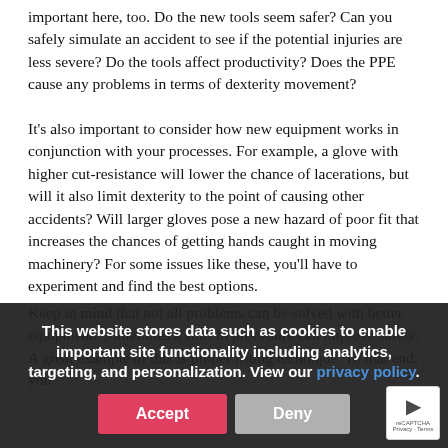important here, too. Do the new tools seem safer? Can you safely simulate an accident to see if the potential injuries are less severe? Do the tools affect productivity? Does the PPE cause any problems in terms of dexterity movement?
It's also important to consider how new equipment works in conjunction with your processes. For example, a glove with higher cut-resistance will lower the chance of lacerations, but will it also limit dexterity to the point of causing other accidents? Will larger gloves pose a new hazard of poor fit that increases the chances of getting hands caught in moving machinery? For some issues like these, you'll have to experiment and find the best options.
Keep in mind that not all problems can be solved with better equipment. Sometimes a shift in procedure can improve safety. A great example of this is proper lifting technique. To that end, you
This website stores data such as cookies to enable important site functionality including analytics, targeting, and personalization. View our privacy policy.